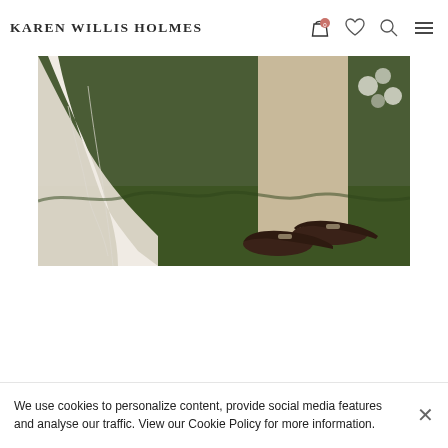Karen Willis Holmes
[Figure (photo): Wedding scene showing the bottom of a white bridal gown on the left and a groom in beige trousers wearing dark brown leather loafers on the right, standing on green grass with white flowers in the background.]
We use cookies to personalize content, provide social media features and analyse our traffic. View our Cookie Policy for more information.